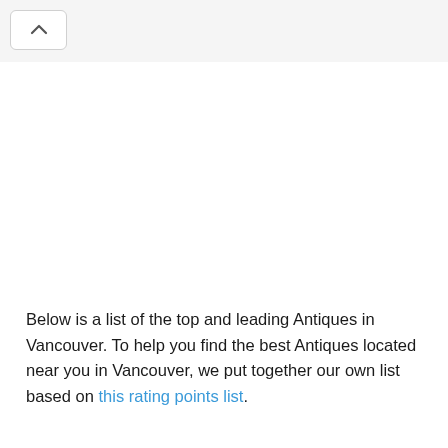Below is a list of the top and leading Antiques in Vancouver. To help you find the best Antiques located near you in Vancouver, we put together our own list based on this rating points list.
Contents [ hide ]